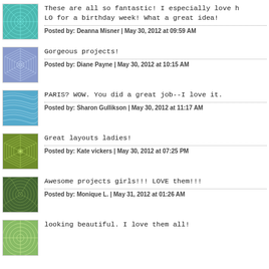These are all so fantastic! I especially love h LO for a birthday week! What a great idea!
Posted by: Deanna Misner | May 30, 2012 at 09:59 AM
Gorgeous projects!
Posted by: Diane Payne | May 30, 2012 at 10:15 AM
PARIS? WOW. You did a great job--I love it.
Posted by: Sharon Gullikson | May 30, 2012 at 11:17 AM
Great layouts ladies!
Posted by: Kate vickers | May 30, 2012 at 07:25 PM
Awesome projects girls!!! LOVE them!!!
Posted by: Monique L. | May 31, 2012 at 01:26 AM
looking beautiful. I love them all!